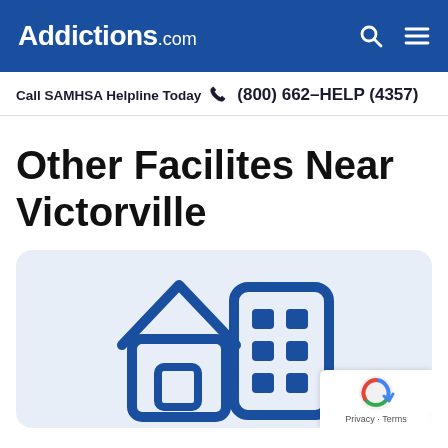Addictions.com
Call SAMHSA Helpline Today  (800) 662-HELP (4357)
Other Facilites Near Victorville
[Figure (illustration): Icon of a house and a building/office block in dark blue outline style on a light blue background, representing facilities. A reCAPTCHA badge appears in the bottom-right corner.]